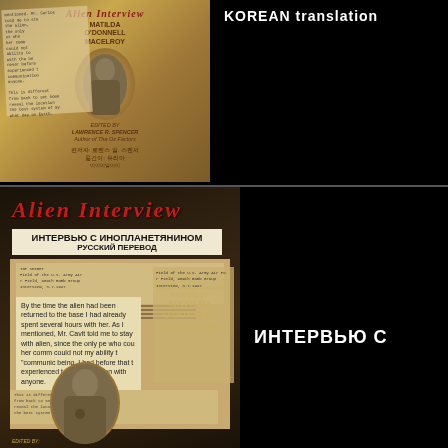[Figure (illustration): Book cover of Alien Interview Korean translation featuring Matilda O'Donnell MacElroy, with old document overlay and author Lawrence R. Spencer credited]
KOREAN translation
[Figure (illustration): Book cover of Alien Interview Russian translation (Интервью с Инопланетянином, Русский Перевод) featuring Matilda O'Donnell MacElroy, with document overlays and excerpt text]
ИНТЕРВЬЮ С